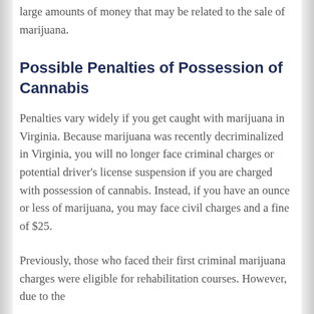large amounts of money that may be related to the sale of marijuana.
Possible Penalties of Possession of Cannabis
Penalties vary widely if you get caught with marijuana in Virginia. Because marijuana was recently decriminalized in Virginia, you will no longer face criminal charges or potential driver's license suspension if you are charged with possession of cannabis. Instead, if you have an ounce or less of marijuana, you may face civil charges and a fine of $25.
Previously, those who faced their first criminal marijuana charges were eligible for rehabilitation courses. However, due to the